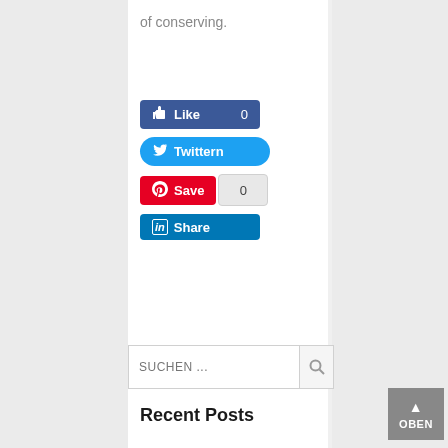of conserving.
[Figure (screenshot): Social media share buttons: Facebook Like (0), Twitter, Pinterest Save (0), LinkedIn Share]
[Figure (screenshot): Search bar with placeholder 'SUCHEN ...' and magnifier icon]
Recent Posts
[Figure (screenshot): OBEN back-to-top button with upward arrow]